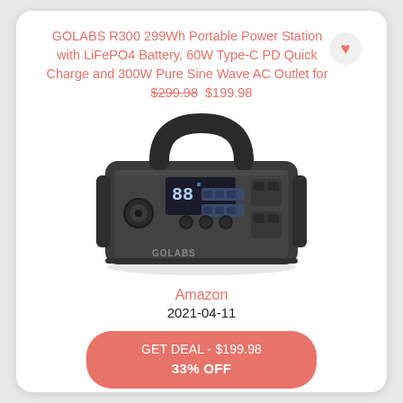GOLABS R300 299Wh Portable Power Station with LiFePO4 Battery, 60W Type-C PD Quick Charge and 300W Pure Sine Wave AC Outlet for $299.98 $199.98
[Figure (photo): GOLABS R300 portable power station, black unit with handle, digital display, and multiple outlet ports]
Amazon
2021-04-11
GET DEAL - $199.98
33% OFF